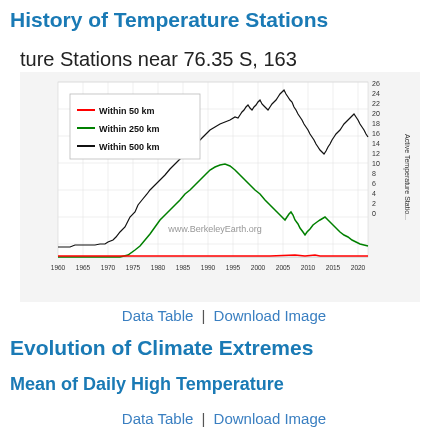History of Temperature Stations
ture Stations near 76.35 S, 163
[Figure (line-chart): Line chart showing number of active temperature stations within 50 km (red), 250 km (green), and 500 km (black) from approximately 1960 to 2020. The black line reaches up to about 26 stations, green up to about 14, and red stays near 0.]
Data Table | Download Image
Evolution of Climate Extremes
Mean of Daily High Temperature
Data Table | Download Image